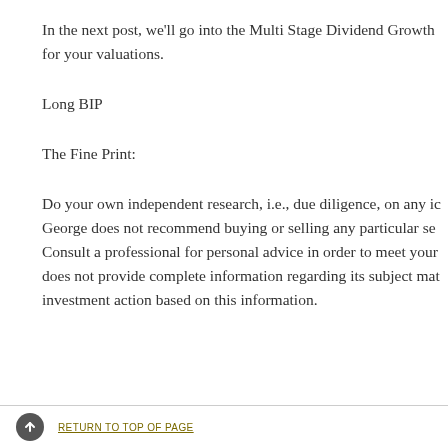In the next post, we'll go into the Multi Stage Dividend Growth for your valuations.
Long BIP
The Fine Print:
Do your own independent research, i.e., due diligence, on any ic George does not recommend buying or selling any particular se Consult a professional for personal advice in order to meet your does not provide complete information regarding its subject mat investment action based on this information.
RETURN TO TOP OF PAGE